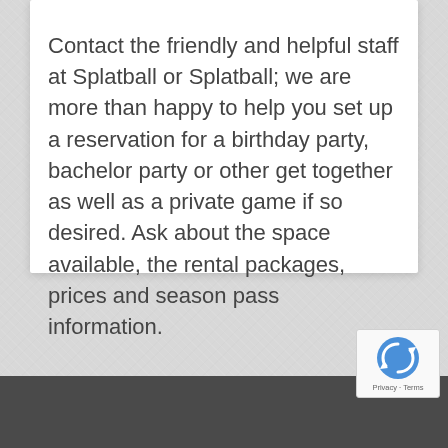Contact the friendly and helpful staff at Splatball or Splatball; we are more than happy to help you set up a reservation for a birthday party, bachelor party or other get together as well as a private game if so desired. Ask about the space available, the rental packages, prices and season pass information.
[Figure (logo): Google reCAPTCHA badge with circular arrow icon and Privacy - Terms text]